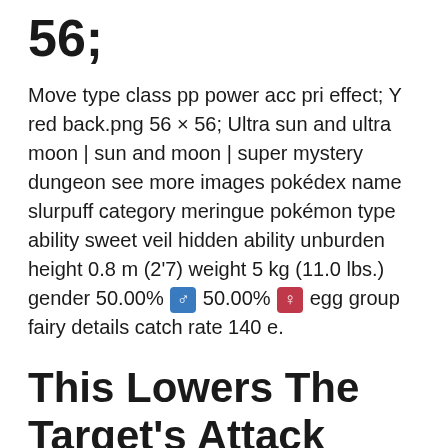56;
Move type class pp power acc pri effect; Y red back.png 56 × 56; Ultra sun and ultra moon | sun and moon | super mystery dungeon see more images pokédex name slurpuff category meringue pokémon type ability sweet veil hidden ability unburden height 0.8 m (2'7) weight 5 kg (11.0 lbs.) gender 50.00% ♂ 50.00% ♀ egg group fairy details catch rate 140 e.
This Lowers The Target's Attack Stat.
We also include all the different forms and genders where appropriate. Pokémon with a